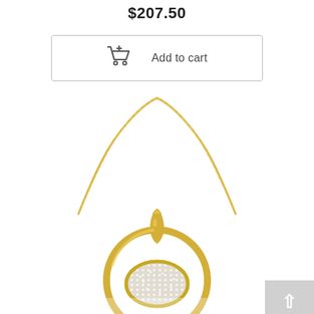$207.50
Add to cart
[Figure (photo): Gold necklace with circular pendant containing diamond-studded oval center piece, shown on white background. The necklace has a gold chain and a decorative bail connecting to a large open circle frame with a pave diamond oval inside.]